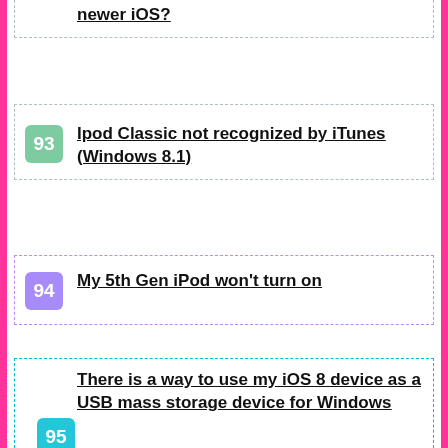newer iOS?
93 Ipod Classic not recognized by iTunes (Windows 8.1)
94 My 5th Gen iPod won't turn on
95 There is a way to use my iOS 8 device as a USB mass storage device for Windows
96 Messages going to the Mac from my iPod